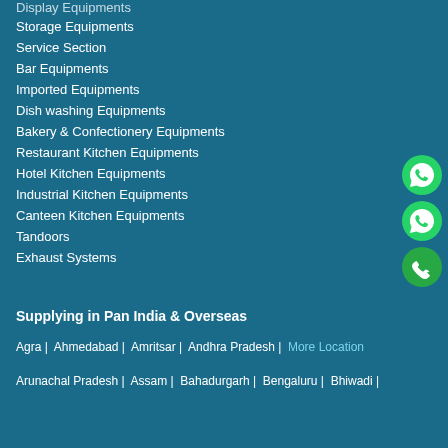Display Equipments
Storage Equipments
Service Section
Bar Equipments
Imported Equipments
Dish washing Equipments
Bakery & Confectionery Equipments
Restaurant Kitchen Equipments
Hotel Kitchen Equipments
Industrial Kitchen Equipments
Canteen Kitchen Equipments
Tandoors
Exhaust Systems
Supplying in Pan India & Overseas
Agra | Ahmedabad | Amritsar | Andhra Pradesh | More Location
Arunachal Pradesh | Assam | Bahadurgarh | Bengaluru | Bhiwadi |